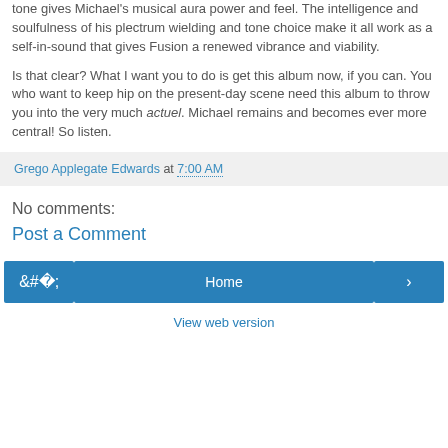tone gives Michael's musical aura power and feel. The intelligence and soulfulness of his plectrum wielding and tone choice make it all work as a self-in-sound that gives Fusion a renewed vibrance and viability.
Is that clear? What I want you to do is get this album now, if you can. You who want to keep hip on the present-day scene need this album to throw you into the very much actuel. Michael remains and becomes ever more central! So listen.
Grego Applegate Edwards at 7:00 AM
No comments:
Post a Comment
‹  Home  ›
View web version